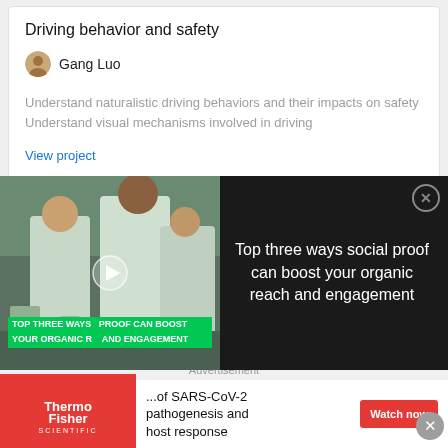Driving behavior and safety
Gang Luo
Understand naturalistic driving behaviors and their impacts on safety
Understand visual mechanisms involved in driving
View project
Project
View project
[Figure (screenshot): Video thumbnail overlay showing scientists in a lab with text 'TOP THREE WAYS SOCIAL PROOF CAN BOOST YOUR ORGANIC REACH AND ENGAGEMENT' and a play button. Right side dark panel with text: Top three ways social proof can boost your organic reach and engagement]
Advertisement
[Figure (logo): ThermoFisher Scientific logo in white on red background]
...of SARS-CoV-2 pathogenesis and host response
Watch now